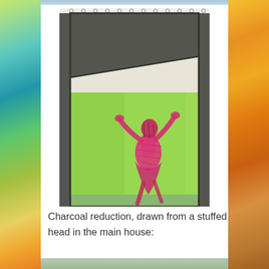[Figure (illustration): A pencil and colored crayon drawing showing a perspective room with dark charcoal-shaded ceiling/clouds at top, a green-colored room interior with a pink/magenta dancing figure with arms raised, rendered in a student art style on spiral-bound sketchpad paper.]
Charcoal reduction, drawn from a stuffed head in the main house: